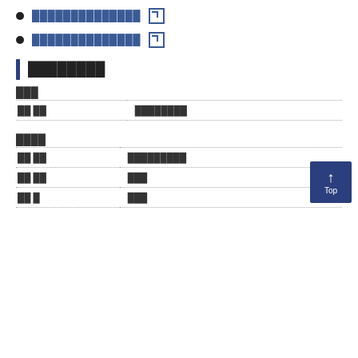██████████████ [external link]
██████████████ [external link]
████████
| ███ |  |
| ██ ██ | ████████ |
| ████ |  |
| ██ ██ | █████████ |
| ██ ██ | ███ |
| ██ █ | ███ |
[Figure (other): Top navigation button with upward arrow and 'Top' label]